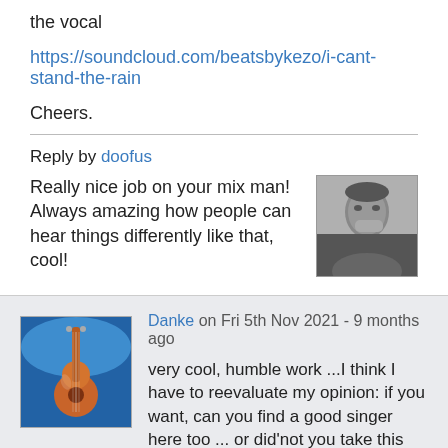the vocal
https://soundcloud.com/beatsbykezo/i-cant-stand-the-rain
Cheers.
Reply by doofus
[Figure (photo): Black and white photo of a person with their hand near their face]
Really nice job on your mix man! Always amazing how people can hear things differently like that, cool!
[Figure (photo): Profile avatar showing a guitar against a blue background]
Danke on Fri 5th Nov 2021 - 9 months ago
very cool, humble work ...I think I have to reevaluate my opinion: if you want, can you find a good singer here too ... or did'not you take this acapella off this side? fistbump, Danke